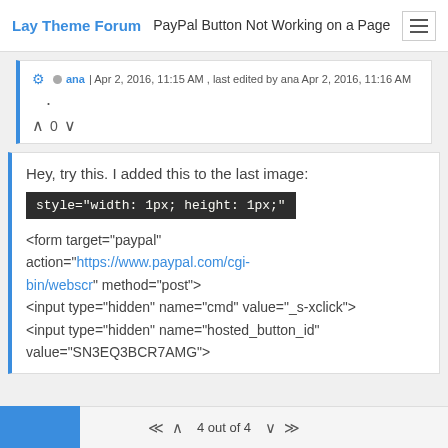Lay Theme Forum | PayPal Button Not Working on a Page
⚙ • ana | Apr 2, 2016, 11:15 AM , last edited by ana Apr 2, 2016, 11:16 AM
.
^ 0 v
Hey, try this. I added this to the last image:
style="width: 1px; height: 1px;"
<form target="paypal" action="https://www.paypal.com/cgi-bin/webscr" method="post">
<input type="hidden" name="cmd" value="_s-xclick">
<input type="hidden" name="hosted_button_id" value="SN3EQ3BCR7AMG">
4 out of 4